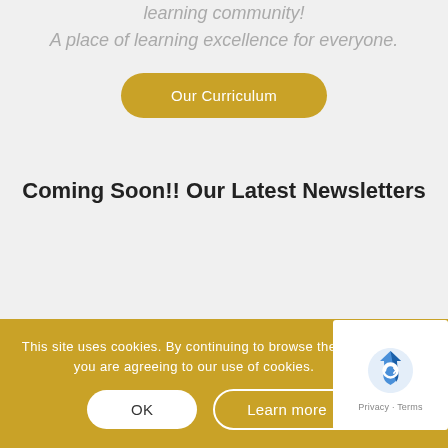learning community! A place of learning excellence for everyone.
Our Curriculum
Coming Soon!! Our Latest Newsletters
This site uses cookies. By continuing to browse the site, you are agreeing to our use of cookies.
OK
Learn more